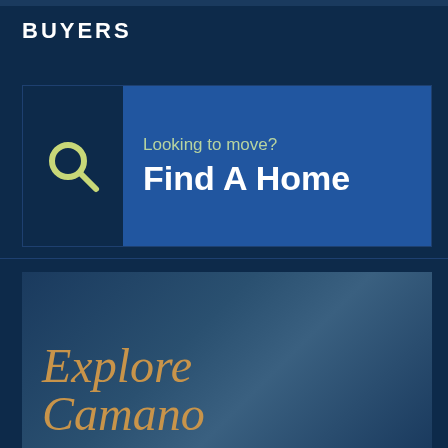BUYERS
[Figure (infographic): Find A Home call-to-action card with search icon and blue background. Contains text 'Looking to move?' and 'Find A Home'.]
[Figure (photo): Explore Camano section with dark blue gradient background and stylized serif italic text 'Explore Camano' in golden/amber color.]